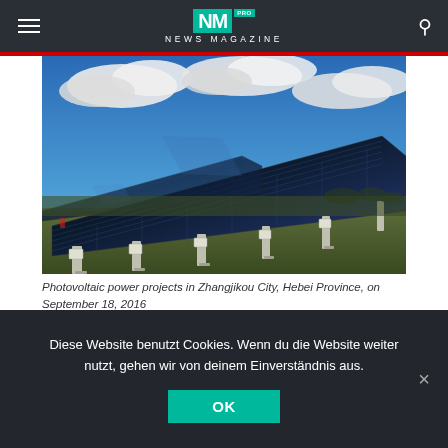NM PRO NEWS MAGAZINE
[Figure (photo): Photovoltaic solar panel arrays on metal mounts in a field, angled toward the sky with blue sky and white clouds in the background. Photo taken in Zhangjikou City, Hebei Province, on September 18, 2016.]
Photovoltaic power projects in Zhangjikou City, Hebei Province, on September 18, 2016
Diese Website benutzt Cookies. Wenn du die Website weiter nutzt, gehen wir von deinem Einverständnis aus.